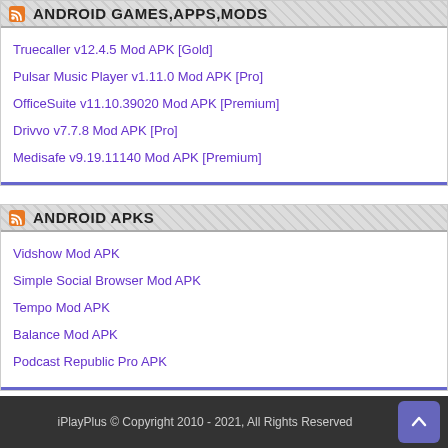ANDROID GAMES,APPS,MODS
Truecaller v12.4.5 Mod APK [Gold]
Pulsar Music Player v1.11.0 Mod APK [Pro]
OfficeSuite v11.10.39020 Mod APK [Premium]
Drivvo v7.7.8 Mod APK [Pro]
Medisafe v9.19.11140 Mod APK [Premium]
ANDROID APKS
Vidshow Mod APK
Simple Social Browser Mod APK
Tempo Mod APK
Balance Mod APK
Podcast Republic Pro APK
iPlayPlus © Copyright 2010 - 2021, All Rights Reserved